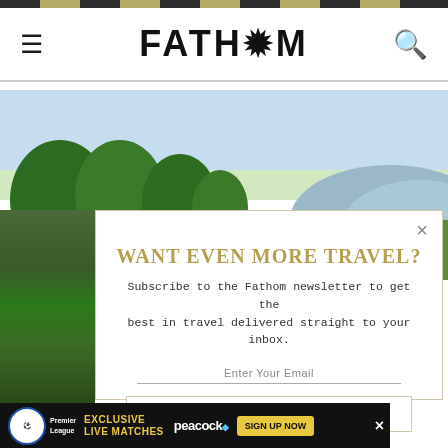FATH*M
[Figure (photo): Outdoor landscape with trees and hills under a blue sky, viewed from a golf course or park]
WANT EVEN MORE TRAVEL?
Subscribe to the Fathom newsletter to get the best in travel delivered straight to your inbox.
Enter Your Email
SUBSCRIBE
[Figure (infographic): Premier League ad banner: EXCLUSIVE LIVE MATCHES on Peacock, SIGN UP NOW button]